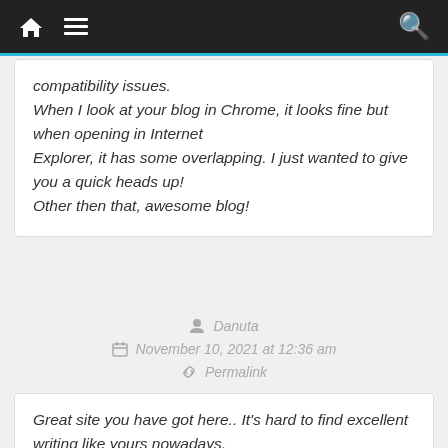Navigation bar with home, menu, and search icons
compatibility issues.
When I look at your blog in Chrome, it looks fine but when opening in Internet
Explorer, it has some overlapping. I just wanted to give you a quick heads up!
Other then that, awesome blog!
Danuta
November 10, 2021 at 12:36 am
Permalink
Great site you have got here.. It's hard to find excellent writing like yours nowadays.
I honestly appreciate individuals like you! Take care!!